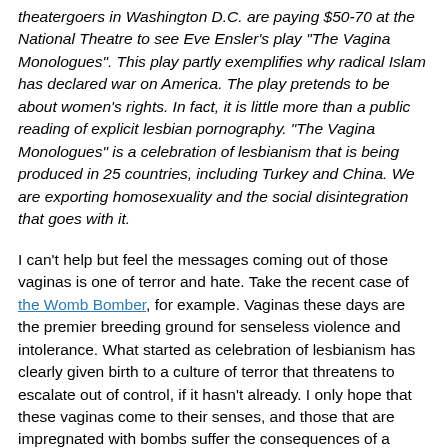theatergoers in Washington D.C. are paying $50-70 at the National Theatre to see Eve Ensler's play "The Vagina Monologues". This play partly exemplifies why radical Islam has declared war on America. The play pretends to be about women's rights. In fact, it is little more than a public reading of explicit lesbian pornography. "The Vagina Monologues" is a celebration of lesbianism that is being produced in 25 countries, including Turkey and China. We are exporting homosexuality and the social disintegration that goes with it.
I can't help but feel the messages coming out of those vaginas is one of terror and hate. Take the recent case of the Womb Bomber, for example. Vaginas these days are the premier breeding ground for senseless violence and intolerance. What started as celebration of lesbianism has clearly given birth to a culture of terror that threatens to escalate out of control, if it hasn't already. I only hope that these vaginas come to their senses, and those that are impregnated with bombs suffer the consequences of a miscarriage.
You know, in the end, I think this guy is A-OKAY. I would apologize for taking him out of context, but crazy removed from crazy isn't